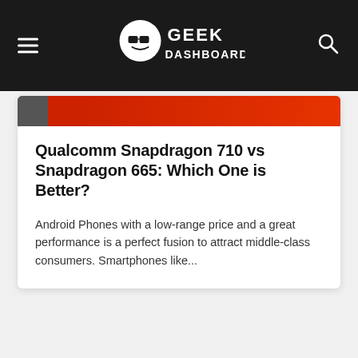Geek Dashboard
[Figure (illustration): Red banner image strip (partial, cropped at top of card)]
Qualcomm Snapdragon 710 vs Snapdragon 665: Which One is Better?
Android Phones with a low-range price and a great performance is a perfect fusion to attract middle-class consumers. Smartphones like...